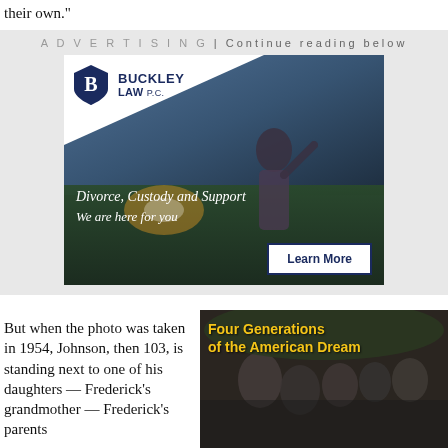their own."
[Figure (illustration): Buckley Law P.C. advertisement showing a parent and child in a field at sunset. Text reads: Divorce, Custody and Support / We are here for you / Learn More button]
But when the photo was taken in 1954, Johnson, then 103, is standing next to one of his daughters — Frederick's grandmother — Frederick's parents
[Figure (photo): Black and white family photo with overlay text: Four Generations of the American Dream]